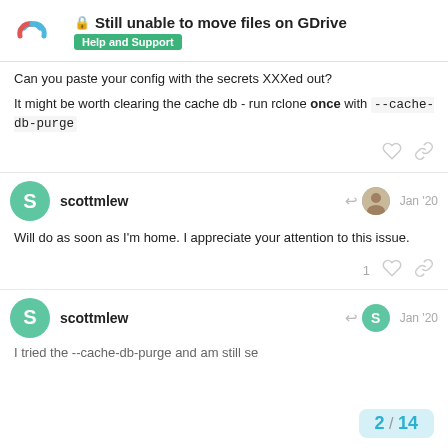Still unable to move files on GDrive — Help and Support
Can you paste your config with the secrets XXXed out?
It might be worth clearing the cache db - run rclone once with --cache-db-purge
scottmlew — Jan '20
Will do as soon as I'm home. I appreciate your attention to this issue.
scottmlew — Jan '20
I tried the --cache-db-purge and am still se...
2 / 14